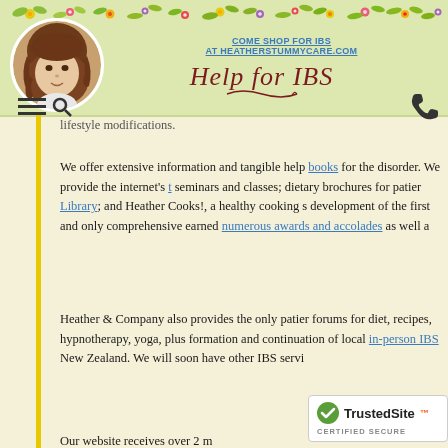[Figure (illustration): Decorative floral strip banner across the top of the header with colorful flowers and leaves]
[Figure (photo): Circular profile photo of a woman with brown curly hair]
COME SHOP FOR IBS
AT HEATHERSTUMMYCARE.COM
Help for IBS
[Figure (illustration): Hamburger menu icon and search magnifying glass icon]
[Figure (illustration): Phone icon]
lifestyle modifications.
We offer extensive information and tangible help books for the disorder. We provide the internet's seminars and classes; dietary brochures for patient Library; and Heather Cooks!, a healthy cooking s development of the first and only comprehensive earned numerous awards and accolades as well a
Heather & Company also provides the only patient forums for diet, recipes, hypnotherapy, yoga, plus formation and continuation of local in-person IBS New Zealand. We will soon have other IBS servi
Our website receives over 2 m exhibitors at the Digestive Di
[Figure (other): TrustedSite CERTIFIED SECURE badge]